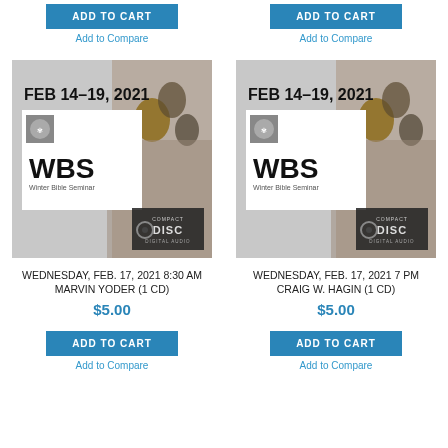ADD TO CART
Add to Compare
ADD TO CART
Add to Compare
[Figure (photo): WBS Winter Bible Seminar FEB 14-19, 2021 product cover with crowd and compact disc logo]
WEDNESDAY, FEB. 17, 2021 8:30 AM MARVIN YODER (1 CD)
$5.00
[Figure (photo): WBS Winter Bible Seminar FEB 14-19, 2021 product cover with crowd and compact disc logo]
WEDNESDAY, FEB. 17, 2021 7 PM CRAIG W. HAGIN (1 CD)
$5.00
ADD TO CART
Add to Compare
ADD TO CART
Add to Compare